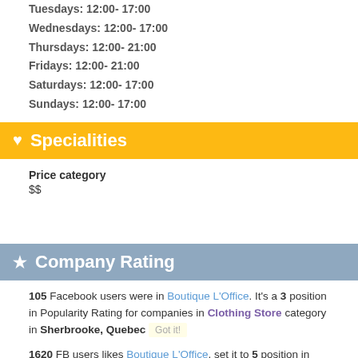Tuesdays: 12:00- 17:00
Wednesdays: 12:00- 17:00
Thursdays: 12:00- 21:00
Fridays: 12:00- 21:00
Saturdays: 12:00- 17:00
Sundays: 12:00- 17:00
Specialities
Price category
$$
Company Rating
105 Facebook users were in Boutique L'Office. It's a 3 position in Popularity Rating for companies in Clothing Store category in Sherbrooke, Quebec
1620 FB users likes Boutique L'Office, set it to 5 position in Likes